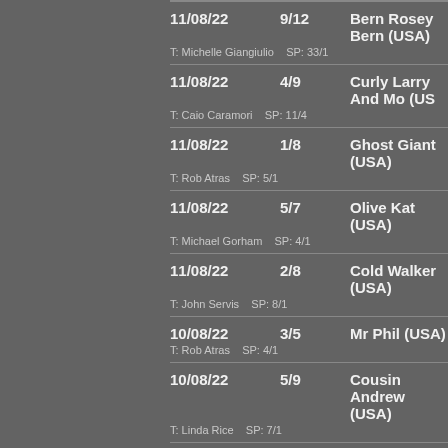11/08/22  9/12  Bern Rosey Bern (USA)  T: Michelle Giangiulio  SP: 33/1
11/08/22  4/9  Curly Larry And Mo (USA)  T: Caio Caramori  SP: 11/4
11/08/22  1/8  Ghost Giant (USA)  T: Rob Atras  SP: 5/1
11/08/22  5/7  Olive Kat (USA)  T: Michael Gorham  SP: 4/1
11/08/22  2/8  Cold Walker (USA)  T: John Servis  SP: 8/1
10/08/22  3/5  Mr Phil (USA)  T: Rob Atras  SP: 4/1
10/08/22  5/9  Cousin Andrew (USA)  T: Linda Rice  SP: 7/1
10/08/22  5/10  Blanchiment (USA)  T: Rob Atras  SP: 20/1
10/08/22  6/11  Moon Mischief (USA)